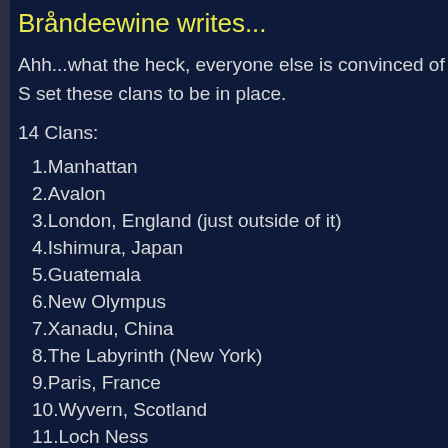Bråndeewine writes...
Ahh...what the heck, everyone else is convinced of S set these clans to be in place.
14 Clans:
1.Manhattan
2.Avalon
3.London, England (just outside of it)
4.Ishimura, Japan
5.Guatemala
6.New Olympus
7.Xanadu, China
8.The Labyrinth (New York)
9.Paris, France
10.Wyvern, Scotland
11.Loch Ness
12.Camelot
13.Antarctica
14.Space Station